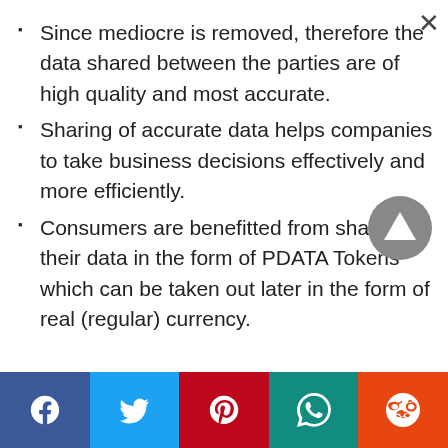Since mediocre is removed, therefore the data shared between the parties are of high quality and most accurate.
Sharing of accurate data helps companies to take business decisions effectively and more efficiently.
Consumers are benefitted from sharing their data in the form of PDATA Tokens which can be taken out later in the form of real (regular) currency.